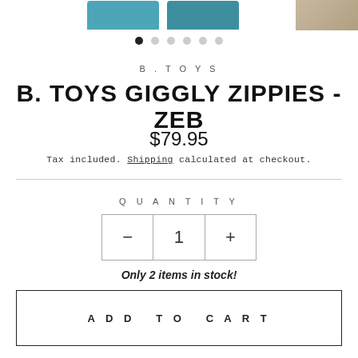[Figure (photo): Product image strip showing teal colored toy boxes partially visible at top, with a light brown image on the right edge]
B.TOYS
B. TOYS GIGGLY ZIPPIES - ZEB
$79.95
Tax included. Shipping calculated at checkout.
QUANTITY
1
Only 2 items in stock!
ADD TO CART